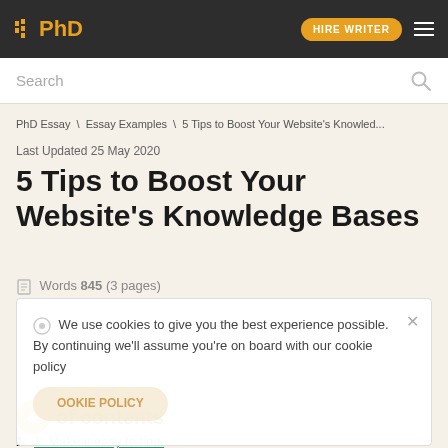PhD HIRE WRITER ☰
Search
PhD Essay \ Essay Examples \ 5 Tips to Boost Your Website's Knowled...
Last Updated 25 May 2020
5 Tips to Boost Your Website's Knowledge Bases
Words 845 (3 pages)
We use cookies to give you the best experience possible. By continuing we'll assume you're on board with our cookie policy
Table of contents
1. 1. Make it easy to find.